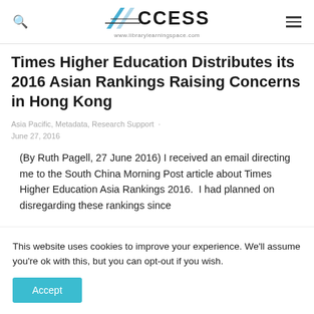ACCESS www.librarylearningspace.com
Times Higher Education Distributes its 2016 Asian Rankings Raising Concerns in Hong Kong
Asia Pacific, Metadata, Research Support · June 27, 2016
(By Ruth Pagell, 27 June 2016) I received an email directing me to the South China Morning Post article about Times Higher Education Asia Rankings 2016.  I had planned on disregarding these rankings since
This website uses cookies to improve your experience. We'll assume you're ok with this, but you can opt-out if you wish.